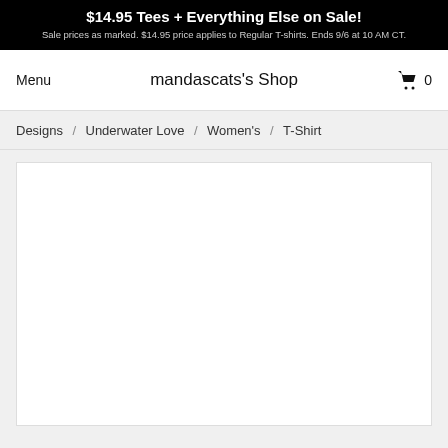$14.95 Tees + Everything Else on Sale! Sale prices as marked. $14.95 price applies to Regular T-shirts. Ends 9/6 at 10 AM CT.
mandascats's Shop
Menu
0
Designs / Underwater Love / Women's / T-Shirt
[Figure (other): Product image area showing a white t-shirt product view, currently blank/loading]